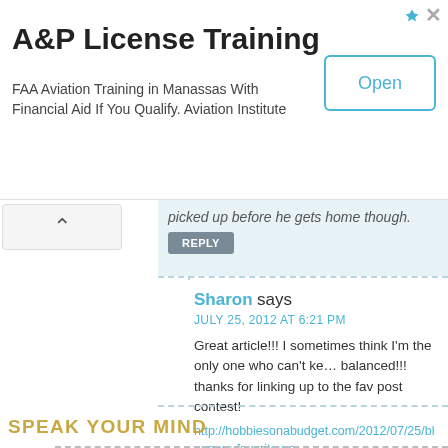[Figure (other): Advertisement banner: A&P License Training - FAA Aviation Training in Manassas With Financial Aid If You Qualify. Aviation Institute. With an Open button.]
picked up before he gets home though.
REPLY
Sharon says
JULY 25, 2012 AT 6:21 PM
Great article!!! I sometimes think I'm the only one who can't ke... balanced!!! thanks for linking up to the fav post contest!
http://hobbiesonabudget.com/2012/07/25/bloggers-favorite-po...
REPLY
SPEAK YOUR MIND